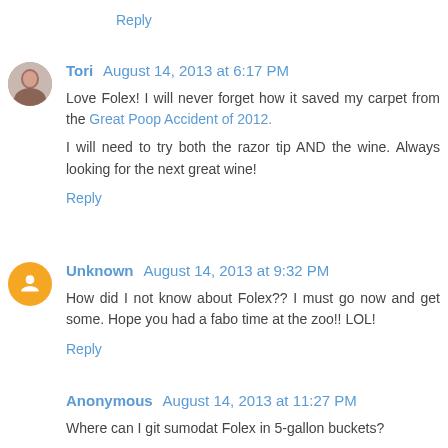Reply
Tori August 14, 2013 at 6:17 PM
Love Folex! I will never forget how it saved my carpet from the Great Poop Accident of 2012.

I will need to try both the razor tip AND the wine. Always looking for the next great wine!
Reply
Unknown August 14, 2013 at 9:32 PM
How did I not know about Folex?? I must go now and get some. Hope you had a fabo time at the zoo!! LOL!
Reply
Anonymous August 14, 2013 at 11:27 PM
Where can I git sumodat Folex in 5-gallon buckets?